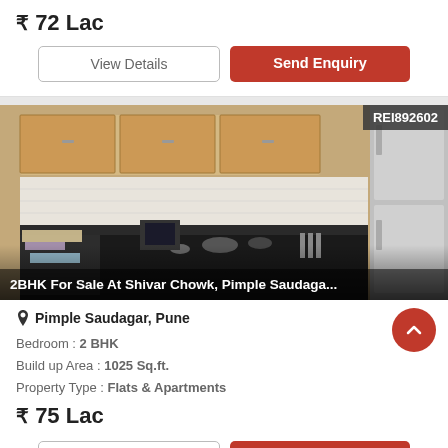₹ 72 Lac
View Details
Send Enquiry
[Figure (photo): Kitchen interior photo showing wooden cabinets, dark countertop with utensils, refrigerator, and cluttered items. REI892602 badge in top-right corner. Overlay text: 2BHK For Sale At Shivar Chowk, Pimple Saudaga...]
Pimple Saudagar, Pune
Bedroom : 2 BHK
Build up Area : 1025 Sq.ft.
Property Type : Flats & Apartments
₹ 75 Lac
View Details
Send Enquiry